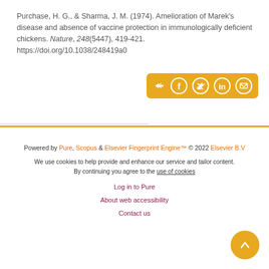Purchase, H. G., & Sharma, J. M. (1974). Amelioration of Marek's disease and absence of vaccine protection in immunologically deficient chickens. Nature, 248(5447), 419-421. https://doi.org/10.1038/248419a0
[Figure (other): Share bar with orange background containing share icon, Facebook, Twitter, LinkedIn, and email social share buttons as white circle icons]
Powered by Pure, Scopus & Elsevier Fingerprint Engine™ © 2022 Elsevier B.V
We use cookies to help provide and enhance our service and tailor content. By continuing you agree to the use of cookies
Log in to Pure
About web accessibility
Contact us